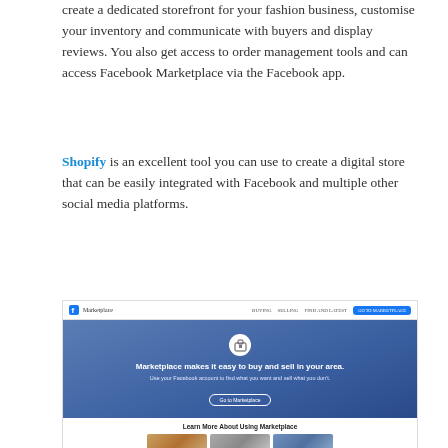create a dedicated storefront for your fashion business, customise your inventory and communicate with buyers and display reviews. You also get access to order management tools and can access Facebook Marketplace via the Facebook app.
Shopify is an excellent tool you can use to create a digital store that can be easily integrated with Facebook and multiple other social media platforms.
[Figure (screenshot): Screenshot of Facebook Marketplace website showing the hero banner with a store icon, text 'Marketplace makes it easy to buy and sell in your area.', a subtitle 'Use your Facebook account to find what you want and sell what you don't.', a 'Go to Marketplace' button, and a 'Learn More About Using Marketplace' section with three thumbnail images below.]